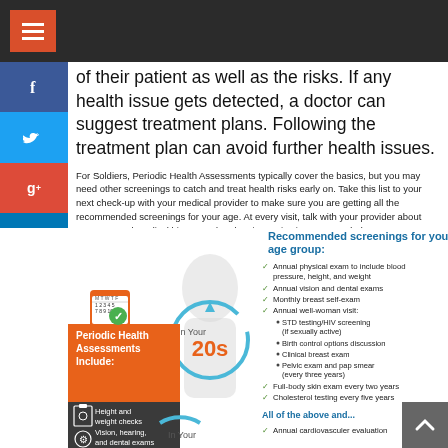of their patient as well as the risks. If any health issue gets detected, a doctor can suggest treatment plans. Following the treatment plan can avoid further health issues.
For Soldiers, Periodic Health Assessments typically cover the basics, but you may need other screenings to catch and treat health risks early on. Take this list to your next check-up with your medical provider to make sure you are getting all the recommended screenings for your age. At every visit, talk with your provider about your personal medical history and update immunizations, as needed.
Recommended screenings for your age group:
[Figure (infographic): Infographic showing Periodic Health Assessments Include: calendar icon, orange box with title, gray box with Height and weight checks, Vision hearing and dental exams items. In Your 20s circle with checklist of recommended screenings.]
Annual physical exam to include blood pressure, height, and weight
Annual vision and dental exams
Monthly breast self-exam
Annual well-woman visit: STD testing/HIV screening (if sexually active), Birth control options discussion, Clinical breast exam, Pelvic exam and pap smear (every three years)
Full-body skin exam every two years
Cholesterol testing every five years
All of the above and...
Annual cardiovascular evaluation